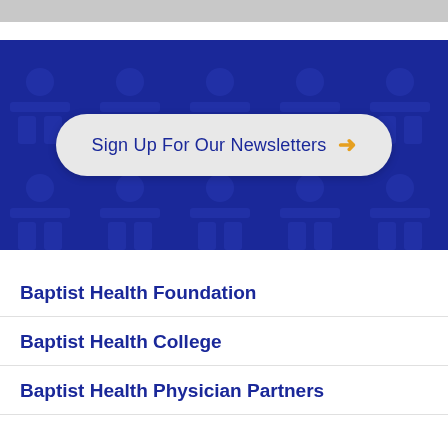[Figure (infographic): Dark blue banner with decorative person/people icon pattern overlay and a rounded pill-shaped button reading 'Sign Up For Our Newsletters' with an orange arrow.]
Baptist Health Foundation
Baptist Health College
Baptist Health Physician Partners